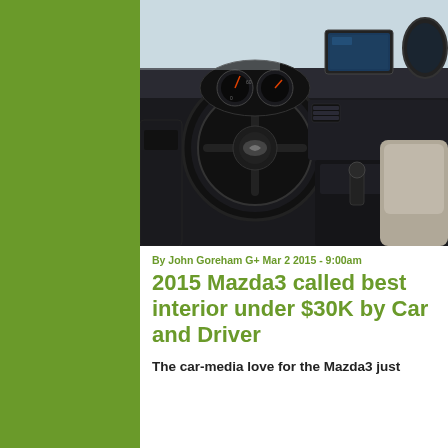[Figure (photo): Interior photo of a 2015 Mazda3 showing the steering wheel, dashboard, infotainment screen, center console, and front seats.]
By John Goreham G+ Mar 2 2015 - 9:00am
2015 Mazda3 called best interior under $30K by Car and Driver
The car-media love for the Mazda3 just